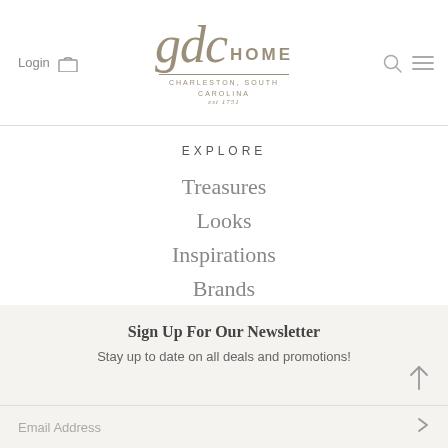[Figure (logo): GDC Home logo with text 'gdc HOME CHARLESTON, SOUTH CAROLINA est 1751']
Login
EXPLORE
Treasures
Looks
Inspirations
Brands
Blog
Sign Up For Our Newsletter
Stay up to date on all deals and promotions!
Email Address